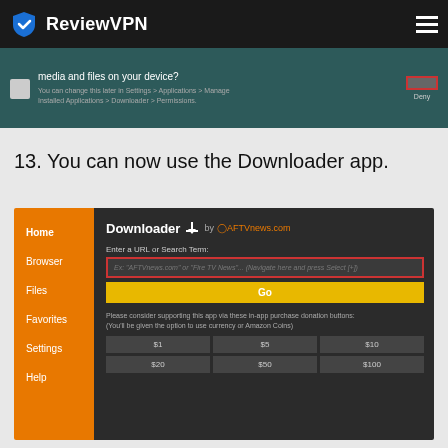ReviewVPN
[Figure (screenshot): Android permission dialog showing 'media and files on your device?' with a Deny button highlighted in red border]
13. You can now use the Downloader app.
[Figure (screenshot): Downloader app interface by AFTVnews.com showing sidebar with Home, Browser, Files, Favorites, Settings, Help and main area with URL input field, Go button, and donation buttons for $1, $5, $10, $20, $50, $100]